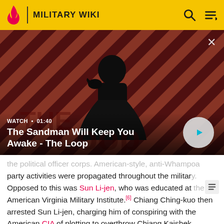MILITARY WIKI
[Figure (screenshot): Video thumbnail for 'The Sandman Will Keep You Awake - The Loop' showing a dark figure with a raven on a red and black striped background. Overlay shows WATCH • 01:40 and a play button.]
The Sandman Will Keep You Awake - The Loop
...the political officer corps. American-style, anti-Whampoa party activities were propagated throughout the military. Opposed to this was Sun Li-jen, who was educated at the American Virginia Military Institute.[6] Chiang Ching-kuo then arrested Sun Li-jen, charging him of conspiring with the American CIA of plotting to overthrow Chiang Kaishek